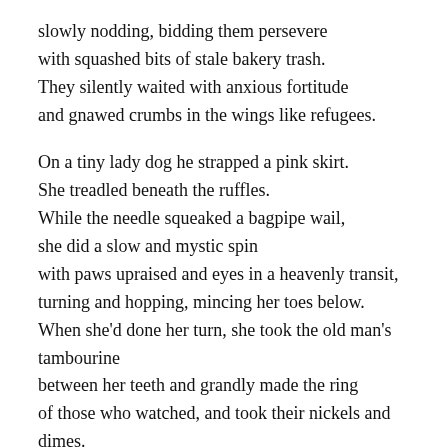slowly nodding, bidding them persevere
with squashed bits of stale bakery trash.
They silently waited with anxious fortitude
and gnawed crumbs in the wings like refugees.
On a tiny lady dog he strapped a pink skirt.
She treadled beneath the ruffles.
While the needle squeaked a bagpipe wail,
she did a slow and mystic spin
with paws upraised and eyes in a heavenly transit,
turning and hopping, mincing her toes below.
When she'd done her turn, she took the old man's
tambourine
between her teeth and grandly made the ring
of those who watched, and took their nickels and dimes.
I saw the thought fester in Big Fred's eyes,
that this old man, who should be safe somewhere,